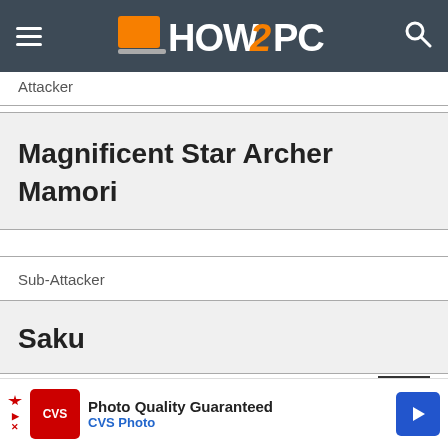HOW2PC
Attacker
Magnificent Star Archer Mamori
Sub-Attacker
Saku
Sub-Attacker
[Figure (other): CVS Photo advertisement banner: Photo Quality Guaranteed - CVS Photo]
Photo Quality Guaranteed CVS Photo